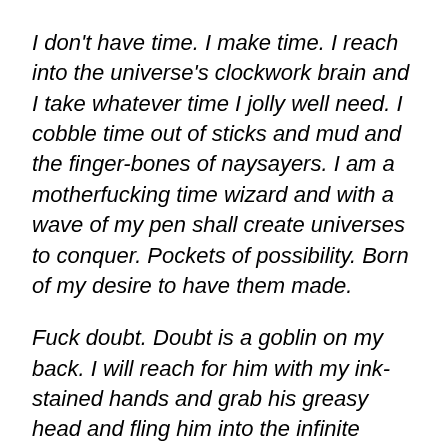I don't have time. I make time. I reach into the universe's clockwork brain and I take whatever time I jolly well need. I cobble time out of sticks and mud and the finger-bones of naysayers. I am a motherfucking time wizard and with a wave of my pen shall create universes to conquer. Pockets of possibility. Born of my desire to have them made.
Fuck doubt. Doubt is a goblin on my back. I will reach for him with my ink-stained hands and grab his greasy head and fling him into the infinite nothing. His screams will thrill me. The resultant word-boner shall be mighty, and with this tremendous oaken stalk I shall swipe it left and